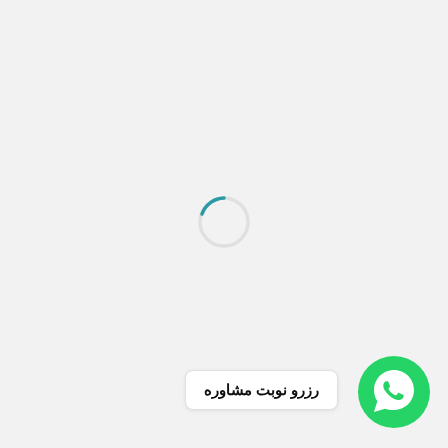[Figure (other): A loading spinner circle (thin ring, partially teal/dark teal on the left arc, light gray on the rest) centered on a light gray background]
[Figure (other): WhatsApp green circular button icon in the bottom-right corner]
رزرو نوبت مشاوره